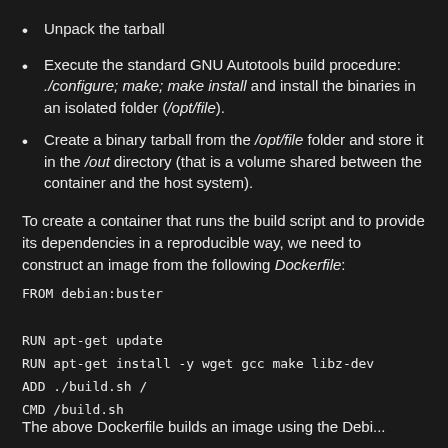Unpack the tarball
Execute the standard GNU Autotools build procedure: ./configure; make; make install and install the binaries in an isolated folder (/opt/file).
Create a binary tarball from the /opt/file folder and store it in the /out directory (that is a volume shared between the container and the host system).
To create a container that runs the build script and to provide its dependencies in a reproducible way, we need to construct an image from the following Dockerfile:
FROM debian:buster

RUN apt-get update
RUN apt-get install -y wget gcc make libz-dev
ADD ./build.sh /
CMD /build.sh
The above Dockerfile builds an image using the Debian...